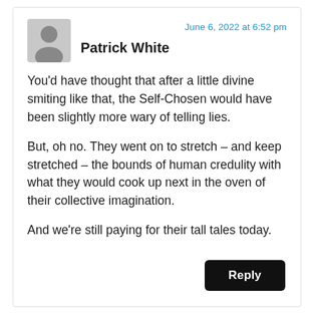[Figure (illustration): Gray avatar/profile silhouette icon]
Patrick White
June 6, 2022 at 6:52 pm
You'd have thought that after a little divine smiting like that, the Self-Chosen would have been slightly more wary of telling lies.
But, oh no. They went on to stretch – and keep stretched – the bounds of human credulity with what they would cook up next in the oven of their collective imagination.
And we're still paying for their tall tales today.
Reply